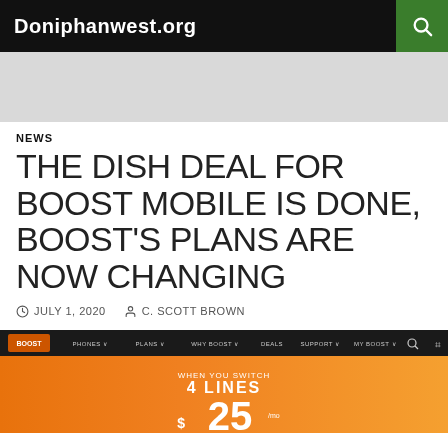Doniphanwest.org
NEWS
THE DISH DEAL FOR BOOST MOBILE IS DONE, BOOST'S PLANS ARE NOW CHANGING
JULY 1, 2020   C. SCOTT BROWN
[Figure (screenshot): Boost Mobile website screenshot showing a promotion: WHEN YOU SWITCH 4 LINES $25 per month]